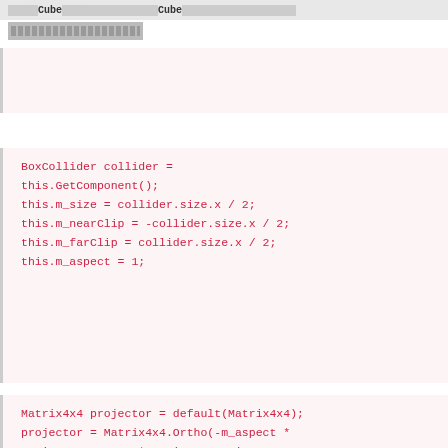void Cube.mesh...Cube ...............
[redacted]
BoxCollider collider = this.GetComponent(); this.m_size = collider.size.x / 2; this.m_nearClip = -collider.size.x / 2; this.m_farClip = collider.size.x / 2; this.m_aspect = 1;
Matrix4x4 projector = default(Matrix4x4);
projector = Matrix4x4.Ortho(-m_aspect * m_size, m_aspect * m_size, -m_size, m_size, m_nearClip, m_farClip);
m_worldToProjector = projector * this.transform.worldToLocalMatrix;